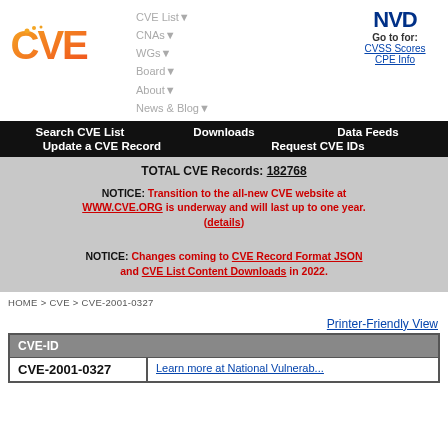[Figure (logo): CVE logo in orange gradient]
CVE List▼
CNAs▼
WGs▼
Board▼
About▼
News & Blog▼
[Figure (logo): NVD logo - dark blue bold letters with Go to: CVSS Scores, CPE Info links]
Search CVE List   Downloads   Data Feeds   Update a CVE Record   Request CVE IDs
TOTAL CVE Records: 182768

NOTICE: Transition to the all-new CVE website at WWW.CVE.ORG is underway and will last up to one year. (details)

NOTICE: Changes coming to CVE Record Format JSON and CVE List Content Downloads in 2022.
HOME > CVE > CVE-2001-0327
Printer-Friendly View
| CVE-ID |  |
| --- | --- |
| CVE-2001-0327 | Learn more at National Vulnerab... |